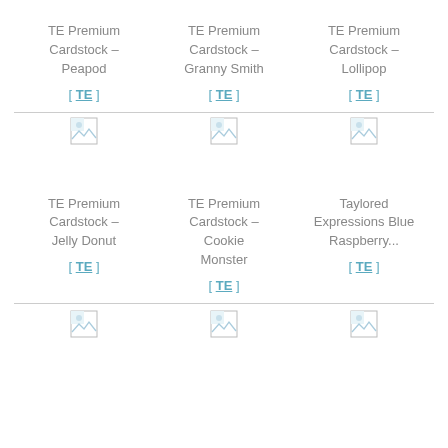TE Premium Cardstock – Peapod
[ TE ]
TE Premium Cardstock – Granny Smith
[ TE ]
TE Premium Cardstock – Lollipop
[ TE ]
[Figure (other): Broken image placeholder icon]
[Figure (other): Broken image placeholder icon]
[Figure (other): Broken image placeholder icon]
TE Premium Cardstock – Jelly Donut
[ TE ]
TE Premium Cardstock – Cookie Monster
[ TE ]
Taylored Expressions Blue Raspberry...
[ TE ]
[Figure (other): Broken image placeholder icon]
[Figure (other): Broken image placeholder icon]
[Figure (other): Broken image placeholder icon]